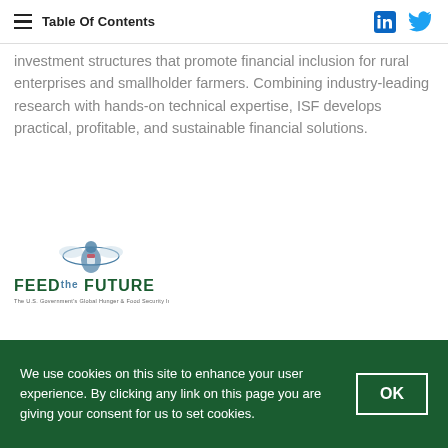Table Of Contents
investment structures that promote financial inclusion for rural enterprises and smallholder farmers. Combining industry-leading research with hands-on technical expertise, ISF develops practical, profitable, and sustainable financial solutions.
[Figure (logo): Feed the Future logo — the U.S. Government's Global Hunger & Food Security Initiative, with eagle emblem above stylized text]
The Feed the Future Initiative
We use cookies on this site to enhance your user experience. By clicking any link on this page you are giving your consent for us to set cookies.